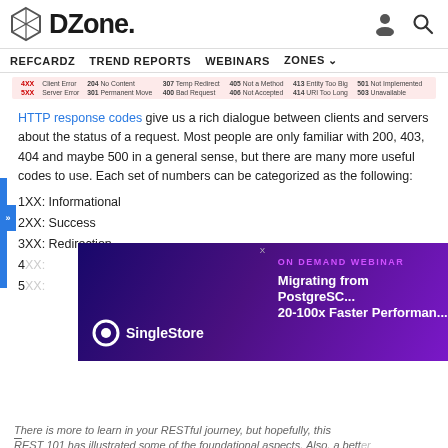DZone
REFCARDZ  TREND REPORTS  WEBINARS  ZONES
| Category | Codes |
| --- | --- |
| 4XX Client Error | 204 No Content  307 Temp Redirect  405 Not a Method  413 Entity Too Big  501 Not Implemented |
| 5XX Server Error | 301 Permanent Move  400 Bad Request  406 Not Accepted  414 URI Too Long  503 Unavailable |
HTTP response codes give us a rich dialogue between clients and servers about the status of a request. Most people are only familiar with 200, 403, 404 and maybe 500 in a general sense, but there are many more useful codes to use. Each set of numbers can be categorized as the following:
1XX: Informational
2XX: Success
3XX: Redirection
4XX: Client Error
5XX: Server Error
[Figure (other): SingleStore On Demand Webinar advertisement overlay: Migrating from PostgreSQL, 20-100x Faster Performance]
There is more to learn in your RESTful journey, but hopefully, this REST 101 has illustrated some of the foundational aspects. Also, a better